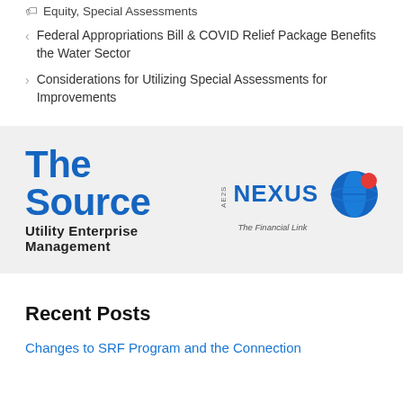🏷 Equity, Special Assessments
< Federal Appropriations Bill & COVID Relief Package Benefits the Water Sector
> Considerations for Utilizing Special Assessments for Improvements
[Figure (logo): The Source Utility Enterprise Management / AE2S NEXUS The Financial Link logo with blue globe graphic]
Recent Posts
Changes to SRF Program and the Connection